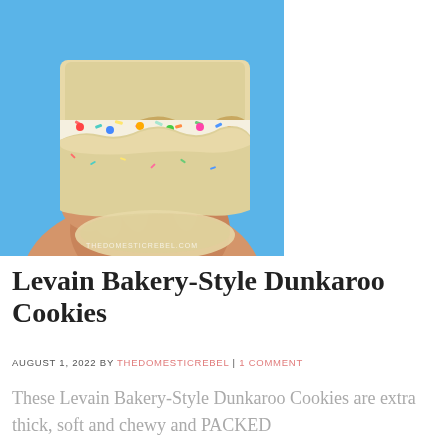[Figure (photo): A hand holding two thick cookie sandwich halves pulled apart, showing a colorful funfetti/Dunkaroo filling with rainbow sprinkles and candy pieces, against a blue background with a round cookie below. Watermark reads THEDOMESTICREBEL.COM.]
Levain Bakery-Style Dunkaroo Cookies
AUGUST 1, 2022 BY THEDOMESTICREBEL | 1 COMMENT
These Levain Bakery-Style Dunkaroo Cookies are extra thick, soft and chewy and PACKED